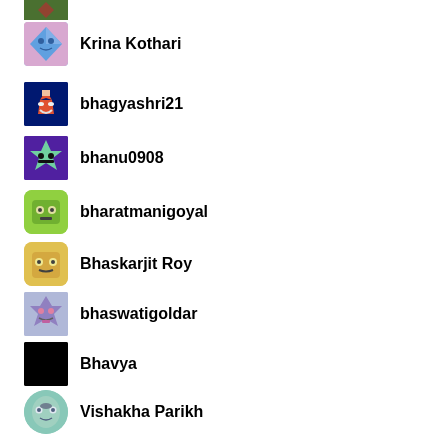(partial avatar - cropped at top)
Krina Kothari
bhagyashri21
bhanu0908
bharatmanigoyal
Bhaskarjit Roy
bhaswatigoldar
Bhavya
Vishakha Parikh
buddhamtutwani